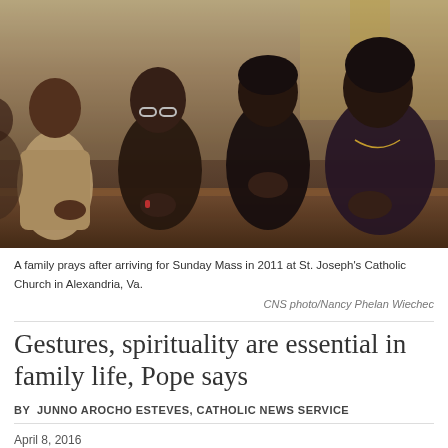[Figure (photo): A family of four people kneeling/sitting in church pews praying, at St. Joseph's Catholic Church in Alexandria, Va., 2011. Four individuals visible: a man on the left and three women/girls, all with hands clasped in prayer.]
A family prays after arriving for Sunday Mass in 2011 at St. Joseph's Catholic Church in Alexandria, Va.
CNS photo/Nancy Phelan Wiechec
Gestures, spirituality are essential in family life, Pope says
BY  JUNNO AROCHO ESTEVES, CATHOLIC NEWS SERVICE
April 8, 2016
Tweet  Like  Sign Up to see what your friends like.